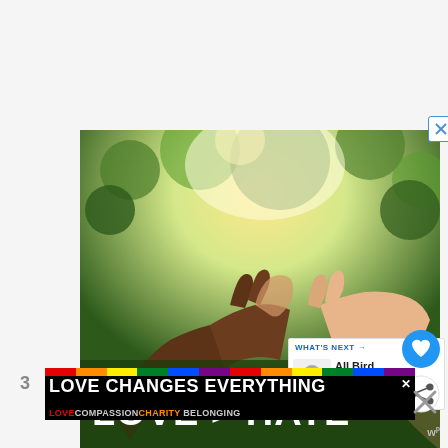[Figure (photo): Two hands from people of different skin tones forming a heart shape together against a green bokeh background with bright sunlight. Text overlay reads 'LOVE > HATE' in large white bold letters at the bottom.]
[Figure (screenshot): A 'WHAT'S NEXT' sidebar box with a Pokemon character icon and text 'All Bird Pokemon...']
[Figure (screenshot): A blue circle heart/like button icon]
[Figure (screenshot): A white circle share button icon]
3
[Figure (infographic): Bottom banner ad with rainbow strip at top and black background with text 'LOVE CHANGES EVERYTHING' in white bold, and subtitle 'LOVE COMPASSION CHARITY BELONGING' in colored text on black background. Has a close X button.]